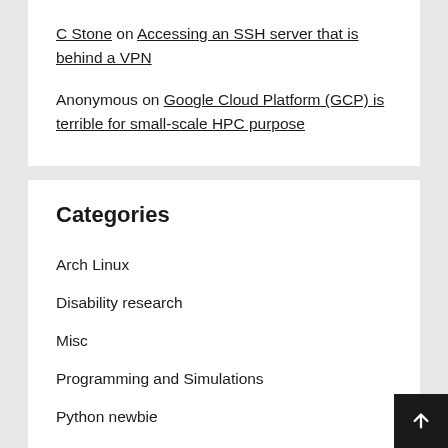C Stone on Accessing an SSH server that is behind a VPN
Anonymous on Google Cloud Platform (GCP) is terrible for small-scale HPC purpose
Categories
Arch Linux
Disability research
Misc
Programming and Simulations
Python newbie